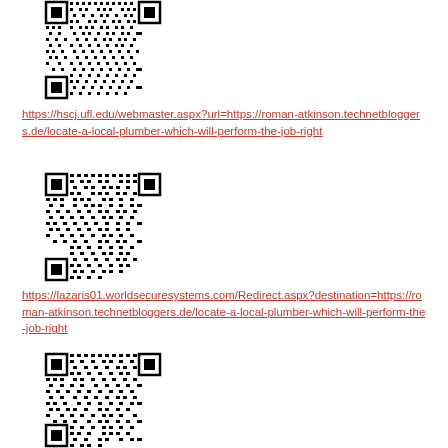[Figure (other): QR code image at top of page]
https://hscj.ufl.edu/webmaster.aspx?url=https://roman-atkinson.technetbloggers.de/locate-a-local-plumber-which-will-perform-the-job-right
[Figure (other): QR code image in middle of page]
https://lazaris01.worldsecuresystems.com/Redirect.aspx?destination=https://roman-atkinson.technetbloggers.de/locate-a-local-plumber-which-will-perform-the-job-right
[Figure (other): QR code image at bottom of page]